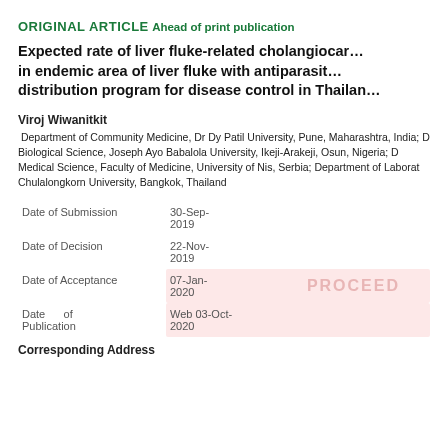ORIGINAL ARTICLE
Ahead of print publication
Expected rate of liver fluke-related cholangiocarcinoma in endemic area of liver fluke with antiparasitic drug distribution program for disease control in Thailand
Viroj Wiwanitkit
Department of Community Medicine, Dr Dy Patil University, Pune, Maharashtra, India; Department of Biological Science, Joseph Ayo Babalola University, Ikeji-Arakeji, Osun, Nigeria; Department of Medical Science, Faculty of Medicine, University of Nis, Serbia; Department of Laboratory Medicine, Chulalongkorn University, Bangkok, Thailand
|  |  |
| --- | --- |
| Date of Submission | 30-Sep-
2019 |
| Date of Decision | 22-Nov-
2019 |
| Date of Acceptance | 07-Jan-
2020 |
| Date of
Publication | Web 03-Oct-
2020 |
Corresponding Address